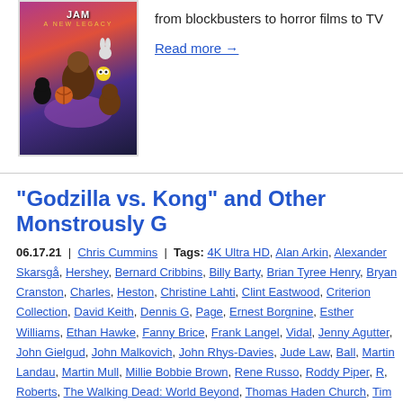[Figure (photo): Space Jam: A New Legacy movie poster with LeBron James and Looney Tunes characters on a colorful background]
from blockbusters to horror films to TV
Read more →
“Godzilla vs. Kong” and Other Monstrously G
06.17.21  |  Chris Cummins  |  Tags: 4K Ultra HD, Alan Arkin, Alexander Skarsgå, Hershey, Bernard Cribbins, Billy Barty, Brian Tyree Henry, Bryan Cranston, Charles, Heston, Christine Lahti, Clint Eastwood, Criterion Collection, David Keith, Dennis G, Page, Ernest Borgnine, Esther Williams, Ethan Hawke, Fanny Brice, Frank Langel, Vidal, Jenny Agutter, John Gielgud, John Malkovich, John Rhys-Davies, Jude Law, Ball, Martin Landau, Martin Mull, Millie Bobbie Brown, Rene Russo, Roddy Piper, Roberts, The Walking Dead: World Beyond, Thomas Haden Church, Tim Thomers, Collection, William Powell  |  0 Comments
[Figure (photo): Godzilla vs. Kong movie still showing monsters in a dark, teal-lit scene]
This week, we've got some titanic title. Yes, there are a number of big blockb but the new titles also include everyth